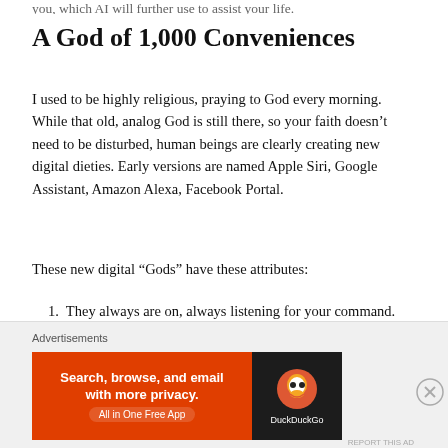you, which AI will further use to assist your life.
A God of 1,000 Conveniences
I used to be highly religious, praying to God every morning. While that old, analog God is still there, so your faith doesn’t need to be disturbed, human beings are clearly creating new digital dieties. Early versions are named Apple Siri, Google Assistant, Amazon Alexa, Facebook Portal.
These new digital “Gods” have these attributes:
1. They always are on, always listening for your command.
Advertisements
[Figure (other): DuckDuckGo advertisement banner: orange background with text 'Search, browse, and email with more privacy. All in One Free App' and DuckDuckGo logo on dark background.]